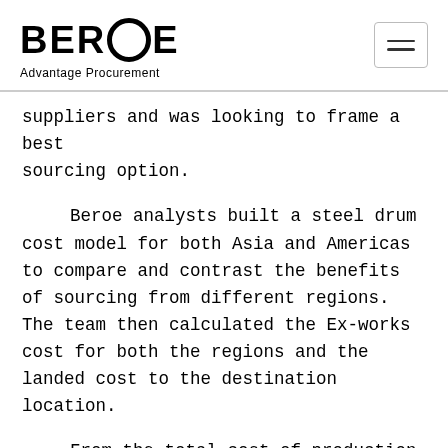BEROE Advantage Procurement
suppliers and was looking to frame a best sourcing option.
Beroe analysts built a steel drum cost model for both Asia and Americas to compare and contrast the benefits of sourcing from different regions. The team then calculated the Ex-works cost for both the regions and the landed cost to the destination location.
From the total cost of production perspective, China appeared to be the best